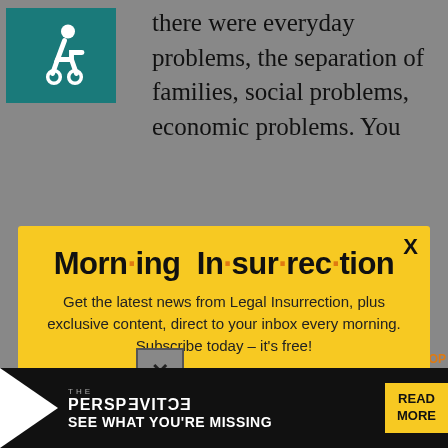[Figure (illustration): Wheelchair accessibility icon in white on teal/dark green background]
there were everyday problems, the separation of families, social problems, economic problems. You
[Figure (screenshot): Morning Insurrection email signup modal with yellow background. Title: Morn·ing In·sur·rec·tion. Body text: Get the latest news from Legal Insurrection, plus exclusive content, direct to your inbox every morning. Subscribe today – it's free! Button: JOIN NOW]
He ha announced his
nation, and the borders of
[Figure (screenshot): The Perspective advertisement banner: SEE WHAT YOU'RE MISSING / READ MORE]